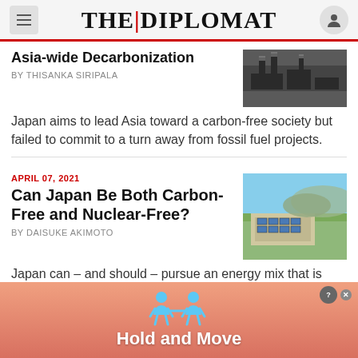THE DIPLOMAT
Asia-wide Decarbonization
By THISANKA SIRIPALA
Japan aims to lead Asia toward a carbon-free society but failed to commit to a turn away from fossil fuel projects.
APRIL 07, 2021
Can Japan Be Both Carbon-Free and Nuclear-Free?
By DAISUKE AKIMOTO
Japan can – and should – pursue an energy mix that is both carbon-neutral and avoids reliance on nuclear energy.
[Figure (photo): Black and white aerial/industrial photo related to decarbonization]
[Figure (photo): Aerial photo of a building with solar panels on roof, green landscape]
[Figure (illustration): Advertisement banner: Hold and Move with blue figure icons]